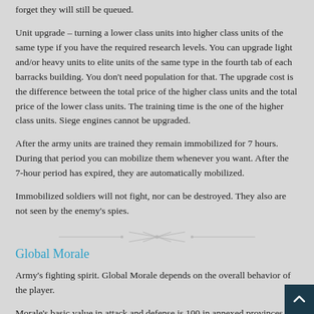forget they will still be queued.
Unit upgrade – turning a lower class units into higher class units of the same type if you have the required research levels. You can upgrade light and/or heavy units to elite units of the same type in the fourth tab of each barracks building. You don't need population for that. The upgrade cost is the difference between the total price of the higher class units and the total price of the lower class units. The training time is the one of the higher class units. Siege engines cannot be upgraded.
After the army units are trained they remain immobilized for 7 hours. During that period you can mobilize them whenever you want. After the 7-hour period has expired, they are automatically mobilized.
Immobilized soldiers will not fight, nor can be destroyed. They also are not seen by the enemy's spies.
[Figure (illustration): Decorative divider with arrow/cross ornament in light gray]
Global Morale
Army's fighting spirit. Global Morale depends on the overall behavior of the player.
Morale's basic value in attack and defense is 100 in annexed provinces and colonies and 110 in the capital. But if a player attacks another player out of the allowed net worth points range x2, Morale drops, because the player is not fighting equals. For every